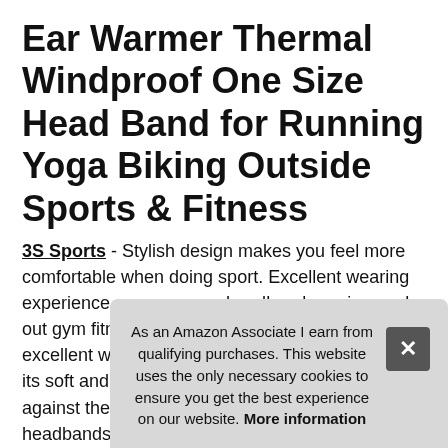Ear Warmer Thermal Windproof One Size Head Band for Running Yoga Biking Outside Sports & Fitness
3S Sports - Stylish design makes you feel more comfortable when doing sport. Excellent wearing experience – ear warmer headband running work out gym fitness exercise yoga head bands provide excellent wearing experience with while keeping its soft and lightweight nature. Best protection against the cold weather. Comfortable – 3s sports headbands come in classic colours that can use as a headband for keep you styli[...]
Men[...] Spo[...] com[...]
As an Amazon Associate I earn from qualifying purchases. This website uses the only necessary cookies to ensure you get the best experience on our website. More information